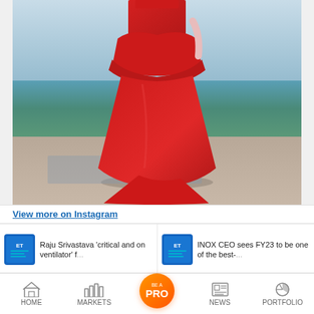[Figure (photo): A person wearing a dramatic red ball gown with peplum top, standing outdoors near the sea/waterfront with blue sky and turquoise water in background. The dress has a long flowing skirt with a train.]
View more on Instagram
Raju Srivastava 'critical and on ventilator' f...
INOX CEO sees FY23 to be one of the best-...
HOME   MARKETS   BE A PRO   NEWS   PORTFOLIO